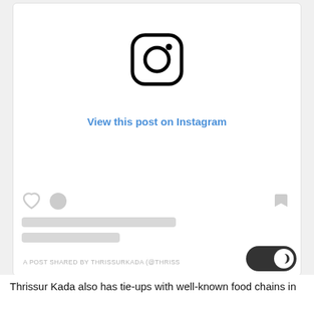[Figure (screenshot): Instagram embed card with Instagram logo icon centered at top, 'View this post on Instagram' link text in blue, social action icons (heart, comment, bookmark), placeholder text bars, and 'A POST SHARED BY THRISSURKADA (@THRISS...' attribution text at bottom with dark mode toggle button]
Thrissur Kada also has tie-ups with well-known food chains in